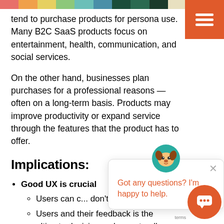tend to purchase products for persona use. Many B2C SaaS products focus on entertainment, health, communication, and social services.
On the other hand, businesses plan purchases for a professional reasons — often on a long-term basis. Products may improve productivity or expand service through the features that the product has to offer.
Implications:
Good UX is crucial
Users can ... don't find it ...
Users and their feedback is the ultimate decision maker, naturally leading to having good UX.
B2B buyers think about UX differently
As long as the product offers a feature that
[Figure (screenshot): Chat widget overlay with a dog icon, close button, and message 'Got any questions? I'm happy to help.' in orange text. An orange chat launcher button is visible at bottom right.]